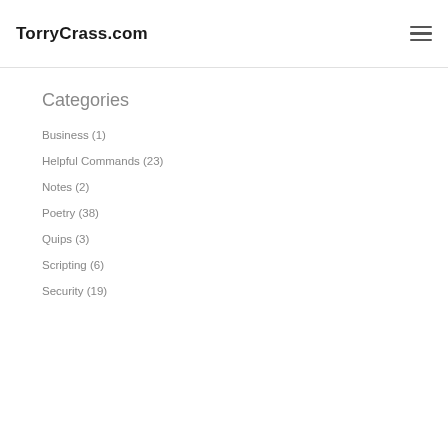TorryCrass.com
Categories
Business (1)
Helpful Commands (23)
Notes (2)
Poetry (38)
Quips (3)
Scripting (6)
Security (19)